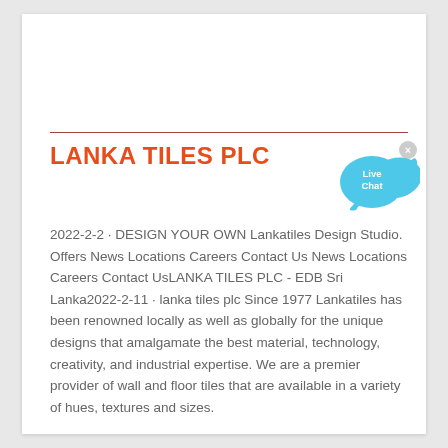LANKA TILES PLC
[Figure (illustration): Live Chat speech bubble icon with blue fish/bird shape and 'Live Chat' text inside]
2022-2-2 · DESIGN YOUR OWN Lankatiles Design Studio. Offers News Locations Careers Contact Us News Locations Careers Contact UsLANKA TILES PLC - EDB Sri Lanka2022-2-11 · lanka tiles plc Since 1977 Lankatiles has been renowned locally as well as globally for the unique designs that amalgamate the best material, technology, creativity, and industrial expertise. We are a premier provider of wall and floor tiles that are available in a variety of hues, textures and sizes.